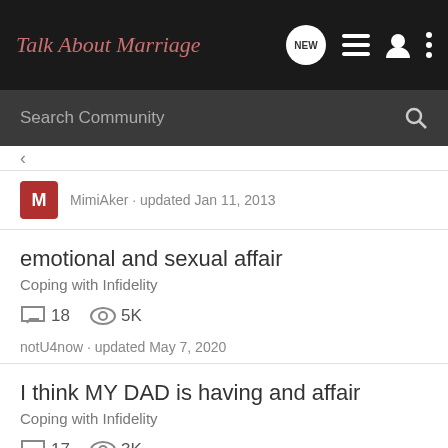Talk About Marriage
Search Community
MimiAker · updated Jan 11, 2013
emotional and sexual affair
Coping with Infidelity
18 replies · 5K views · notU4now · updated May 7, 2020
I think MY DAD is having and affair
Coping with Infidelity
17 replies · 3K views · aboki · updated Oct 29, 2012